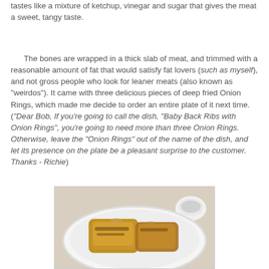tastes like a mixture of ketchup, vinegar and sugar that gives the meat a sweet, tangy taste.
The bones are wrapped in a thick slab of meat, and trimmed with a reasonable amount of fat that would satisfy fat lovers (such as myself), and not gross people who look for leaner meats (also known as "weirdos"). It came with three delicious pieces of deep fried Onion Rings, which made me decide to order an entire plate of it next time. ("Dear Bob, If you're going to call the dish, "Baby Back Ribs with Onion Rings", you're going to need more than three Onion Rings. Otherwise, leave the "Onion Rings" out of the name of the dish, and let its presence on the plate be a pleasant surprise to the customer. Thanks - Richie)
[Figure (photo): Photo of food on a white plate — appears to be ribs or meat pieces, golden/browned, on a white plate with a dipping sauce cup visible in the background.]